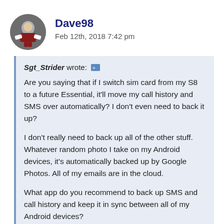Dave98
Feb 12th, 2018 7:42 pm
Sgt_Strider wrote: [quote icon] Are you saying that if I switch sim card from my S8 to a future Essential, it'll move my call history and SMS over automatically? I don't even need to back it up?

I don't really need to back up all of the other stuff. Whatever random photo I take on my Android devices, it's automatically backed up by Google Photos. All of my emails are in the cloud.

What app do you recommend to back up SMS and call history and keep it in sync between all of my Android devices?
No, switching sim cards won't move call history and SMS